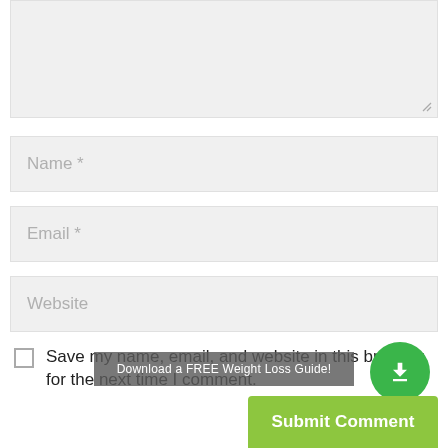[Figure (screenshot): Comment form textarea (gray background, resize handle at bottom right)]
Name *
Email *
Website
Save my name, email, and website in this browser for the next time I comment.
Download a FREE Weight Loss Guide!
Submit Comment